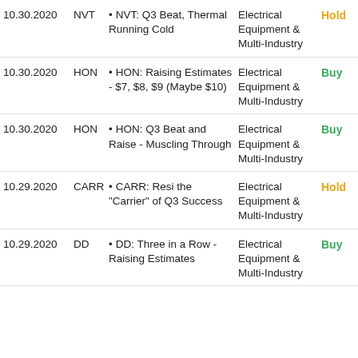| Date | Ticker | Note | Sector | Rating |
| --- | --- | --- | --- | --- |
| 10.30.2020 | NVT | NVT: Q3 Beat, Thermal Running Cold | Electrical Equipment & Multi-Industry | Hold |
| 10.30.2020 | HON | HON: Raising Estimates - $7, $8, $9 (Maybe $10) | Electrical Equipment & Multi-Industry | Buy |
| 10.30.2020 | HON | HON: Q3 Beat and Raise - Muscling Through | Electrical Equipment & Multi-Industry | Buy |
| 10.29.2020 | CARR | CARR: Resi the "Carrier" of Q3 Success | Electrical Equipment & Multi-Industry | Hold |
| 10.29.2020 | DD | DD: Three in a Row - Raising Estimates | Electrical Equipment & Multi-Industry | Buy |